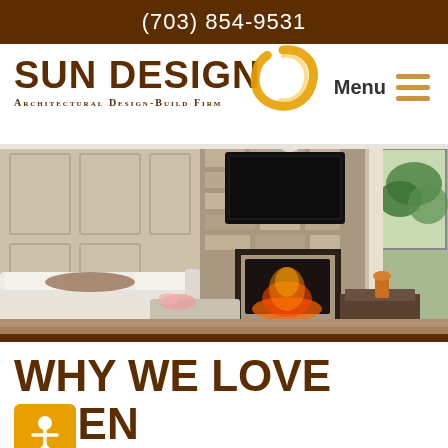(703) 854-9531
[Figure (logo): Sun Design logo with circular orange brushstroke and text 'SUN DESIGN - Architectural Design-Build Firm']
Menu
[Figure (photo): Interior living room with white sofa, stone fireplace with mounted TV, and large windows showing greenery outside]
WHY WE LOVE OPEN FLOOR PLANS... AND YOU WILL, TOO!